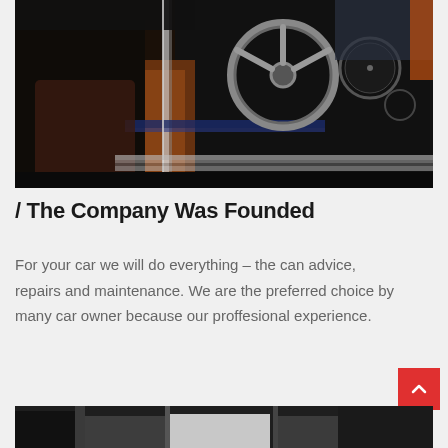[Figure (photo): Close-up interior photo of a vintage/classic car showing the steering wheel, dashboard, open door, and chrome trim details. Dark atmospheric lighting with brown/orange accents.]
/ The Company Was Founded
For your car we will do everything – the can advice, repairs and maintenance. We are the preferred choice by many car owner because our proffesional experience.
[Figure (photo): Partial view of a second photo showing what appears to be a garage or auto shop interior, partially cut off at the bottom of the page.]